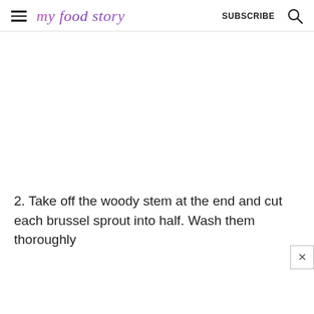my food story  SUBSCRIBE
[Figure (photo): White blank image area (photo placeholder)]
2. Take off the woody stem at the end and cut each brussel sprout into half. Wash them thoroughly